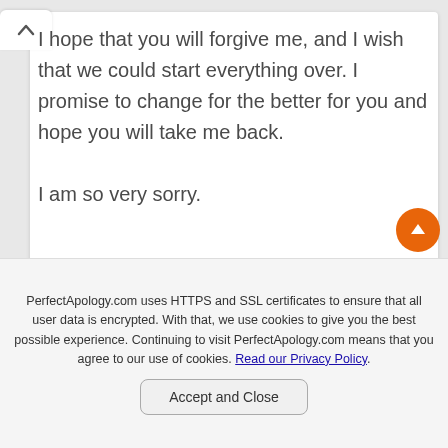I hope that you will forgive me, and I wish that we could start everything over. I promise to change for the better for you and hope you will take me back.

I am so very sorry.
PerfectApology.com uses HTTPS and SSL certificates to ensure that all user data is encrypted. With that, we use cookies to give you the best possible experience. Continuing to visit PerfectApology.com means that you agree to our use of cookies. Read our Privacy Policy.
Accept and Close